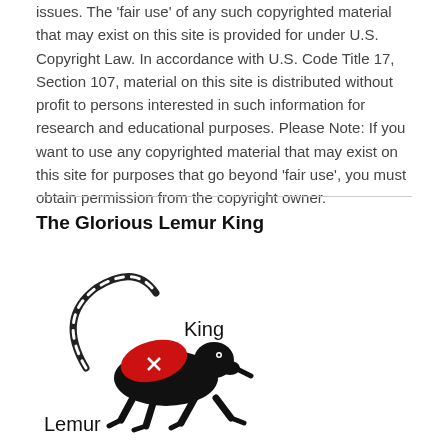issues. The 'fair use' of any such copyrighted material that may exist on this site is provided for under U.S. Copyright Law. In accordance with U.S. Code Title 17, Section 107, material on this site is distributed without profit to persons interested in such information for research and educational purposes. Please Note: If you want to use any copyrighted material that may exist on this site for purposes that go beyond 'fair use', you must obtain permission from the copyright owner.
The Glorious Lemur King
[Figure (illustration): A stylized lemur illustration running with a red cape/saddle, labeled 'King' above right and 'Lemur' below left, with a ringed tail.]